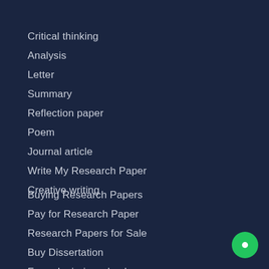Critical thinking
Analysis
Letter
Summary
Reflection paper
Poem
Journal article
Write My Research Paper
Creative writing
Buying Research Papers
Pay for Research Paper
Research Papers for Sale
Buy Dissertation
Free plagiarism checker